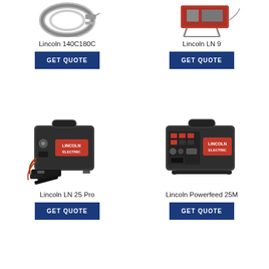[Figure (photo): Lincoln 140C180C welding equipment product photo (partial, top portion)]
Lincoln 140C180C
[Figure (other): GET QUOTE button for Lincoln 140C180C]
[Figure (photo): Lincoln LN 9 welding equipment product photo (partial, top portion)]
Lincoln LN 9
[Figure (other): GET QUOTE button for Lincoln LN 9]
[Figure (photo): Lincoln LN 25 Pro wire feeder product photo - dark grey portable unit with Lincoln Electric branding]
Lincoln LN 25 Pro
[Figure (other): GET QUOTE button for Lincoln LN 25 Pro]
[Figure (photo): Lincoln Powerfeed 25M wire feeder product photo - dark grey portable unit with Lincoln Electric branding and control panel]
Lincoln Powerfeed 25M
[Figure (other): GET QUOTE button for Lincoln Powerfeed 25M]